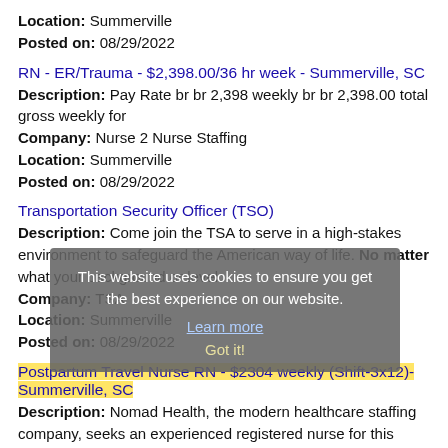Location: Summerville
Posted on: 08/29/2022
RN - ER/Trauma - $2,398.00/36 hr week - Summerville, SC
Description: Pay Rate br br 2,398 weekly br br 2,398.00 total gross weekly for
Company: Nurse 2 Nurse Staffing
Location: Summerville
Posted on: 08/29/2022
Transportation Security Officer (TSO)
Description: Come join the TSA to serve in a high-stakes environment to safeguard the American way of life. No matter what your background or level
Company: TSA
Location: Summerville
Posted on: 08/29/2022
This website uses cookies to ensure you get the best experience on our website.
Learn more
Got it!
Postpartum Travel Nurse RN - $2304 weekly (Shift-3x12)- Summerville, SC
Description: Nomad Health, the modern healthcare staffing company, seeks an experienced registered nurse for this rewarding travel assignment opportunity.Join
Company: Nomad Health